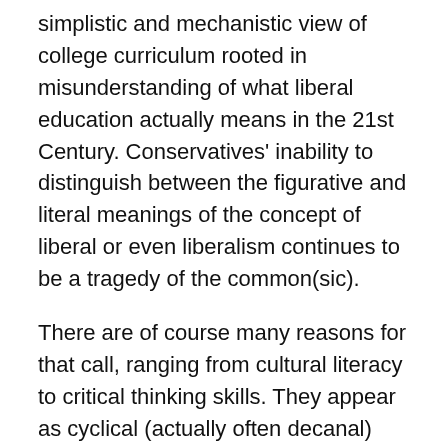simplistic and mechanistic view of college curriculum rooted in misunderstanding of what liberal education actually means in the 21st Century. Conservatives' inability to distinguish between the figurative and literal meanings of the concept of liberal or even liberalism continues to be a tragedy of the common(sic).
There are of course many reasons for that call, ranging from cultural literacy to critical thinking skills. They appear as cyclical (actually often decanal) calls for management leadership roles making design (deployed as management control of marketing via styling) more important than engineering in business when developing capitalist products. The auto industry still suffers from this superficiality in its rebadging strategies. Unfortunately the benefits at the ivory tower's parapets always depends on the utilities based in the